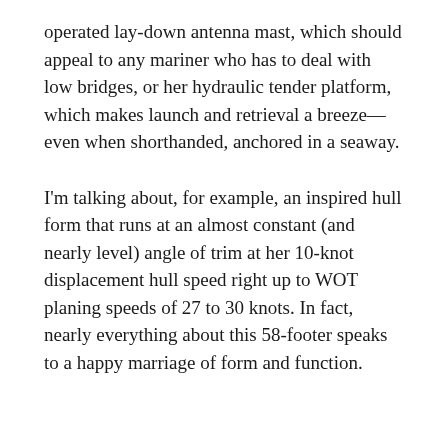operated lay-down antenna mast, which should appeal to any mariner who has to deal with low bridges, or her hydraulic tender platform, which makes launch and retrieval a breeze—even when shorthanded, anchored in a seaway.
I'm talking about, for example, an inspired hull form that runs at an almost constant (and nearly level) angle of trim at her 10-knot displacement hull speed right up to WOT planing speeds of 27 to 30 knots. In fact, nearly everything about this 58-footer speaks to a happy marriage of form and function.